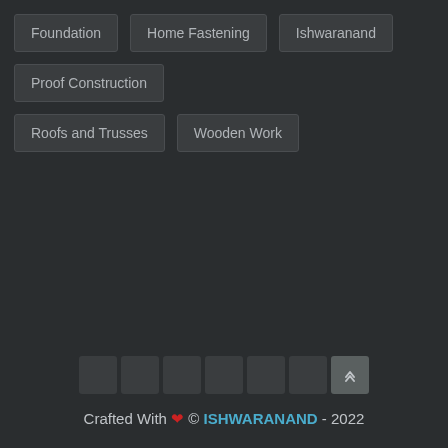Foundation
Home Fastening
Ishwaranand
Proof Construction
Roofs and Trusses
Wooden Work
Crafted With ❤ © ISHWARANAND - 2022